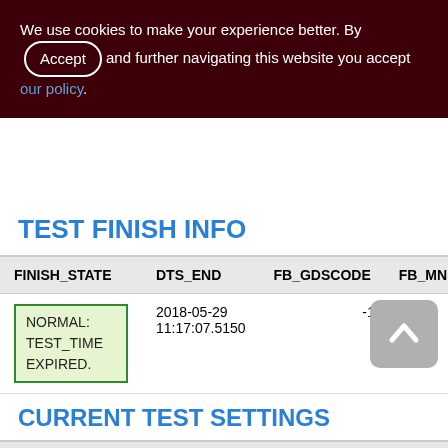We use cookies to make your experience better. By Accept and further navigating this website you accept our policy.
TEST FINISH INFO
| FINISH_STATE | DTS_END | FB_GDSCODE | FB_MN... |
| --- | --- | --- | --- |
| NORMAL: TEST_TIME EXPIRED. | 2018-05-29 11:17:07.5150 | -1 | <null> |
CURRENT TEST SETTINGS
| CATEGORY | SETTING |
| --- | --- |